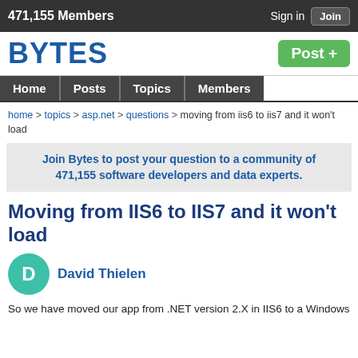471,155 Members   Sign in   Join
[Figure (logo): BYTES logo in blue bold text]
Post +
Home  Posts  Topics  Members
home > topics > asp.net > questions > moving from iis6 to iis7 and it won't load
Join Bytes to post your question to a community of 471,155 software developers and data experts.
Moving from IIS6 to IIS7 and it won't load
David Thielen
So we have moved our app from .NET version 2.X in IIS6 to a Windows